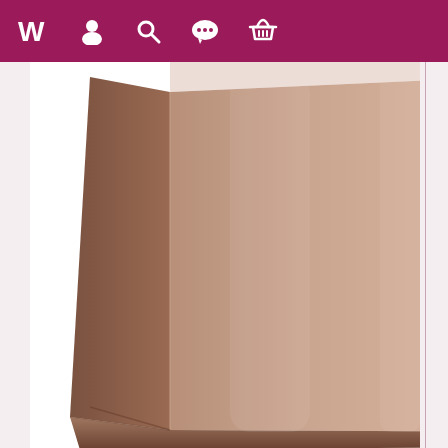[Figure (screenshot): Website header navigation bar with magenta/dark pink background showing five white icons: a stylized W logo, a person/user icon, a search/magnifying glass icon, a speech bubble/chat icon, and a shopping basket icon.]
[Figure (photo): A plain brown kraft paper bag photographed against a white background. The bag is a standard grocery/shopping style flat-bottom paper bag, shown from a slight angle. The bag is tan/beige-brown in color with visible gusset folds at the bottom and sides.]